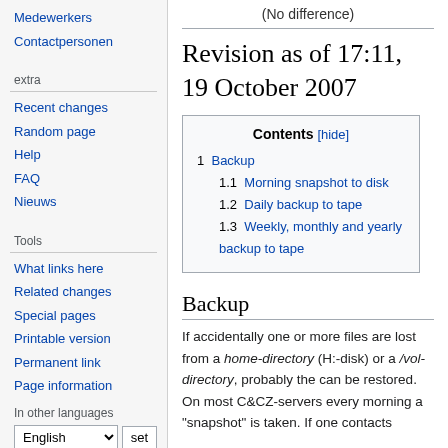Medewerkers
Contactpersonen
extra
Recent changes
Random page
Help
FAQ
Nieuws
Tools
What links here
Related changes
Special pages
Printable version
Permanent link
Page information
In other languages
(No difference)
Revision as of 17:11, 19 October 2007
| Contents [hide] |
| --- |
| 1  Backup |
| 1.1  Morning snapshot to disk |
| 1.2  Daily backup to tape |
| 1.3  Weekly, monthly and yearly backup to tape |
Backup
If accidentally one or more files are lost from a home-directory (H:-disk) or a /vol-directory, probably the can be restored. On most C&CZ-servers every morning a "snapshot" is taken. If one contacts